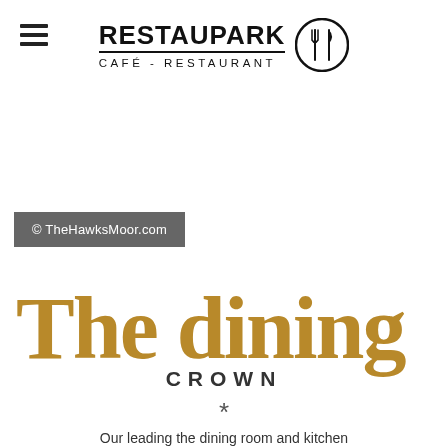RESTAUPARK CAFÉ - RESTAURANT
[Figure (logo): Restaupark Café-Restaurant logo with fork and knife icon in a circle]
© TheHawksMoor.com
The dining CROWN
*
Our leading the dining room and kitchen...